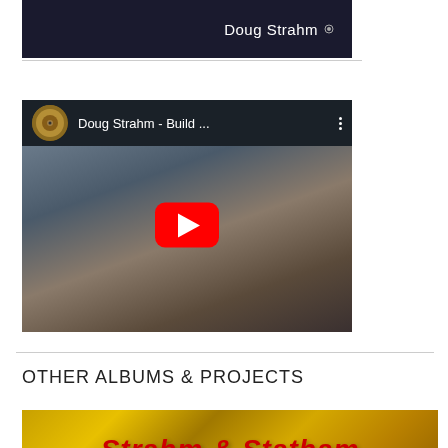[Figure (screenshot): Top portion of a YouTube video thumbnail showing 'Doug Strahm' text on dark background]
[Figure (screenshot): YouTube video embed showing 'Doug Strahm - Build ...' with a red play button overlaid on a man with a beard, album thumbnail in top-left corner]
OTHER ALBUMS & PROJECTS
[Figure (screenshot): Banner image with golden/cymbal background and red bold italic text reading 'Strahm & Statham']